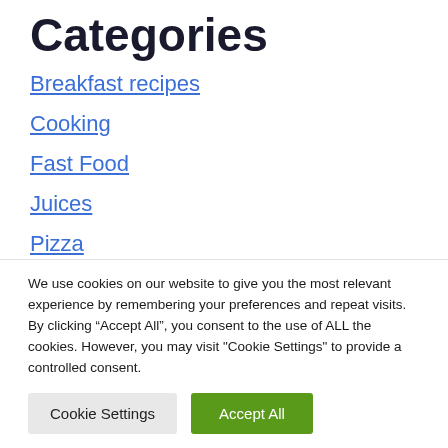Categories
Breakfast recipes
Cooking
Fast Food
Juices
Pizza
Pizza Italian
We use cookies on our website to give you the most relevant experience by remembering your preferences and repeat visits. By clicking "Accept All", you consent to the use of ALL the cookies. However, you may visit "Cookie Settings" to provide a controlled consent.